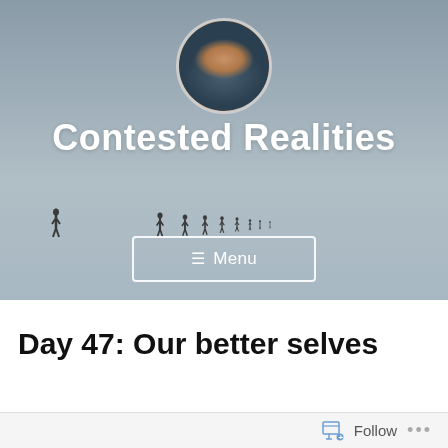[Figure (screenshot): Blog header banner with gray gradient background, circular avatar photo of a person, site title 'Contested Realities', small silhouette figures in a row, and a Menu button]
Day 47: Our better selves
[Figure (screenshot): Follow bar at bottom with follow icon, 'Follow' text, and '...' dots]